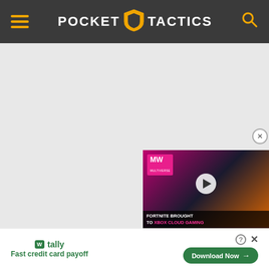Pocket Tactics
[Figure (screenshot): Large gray placeholder content area below the Pocket Tactics header]
[Figure (screenshot): Video overlay thumbnail showing MW logo, play button, and text 'FORTNITE BROUGHT TO XBOX CLOUD GAMING' with a close button]
[Figure (other): Advertisement banner: Tally app - Fast credit card payoff, with Download Now button]